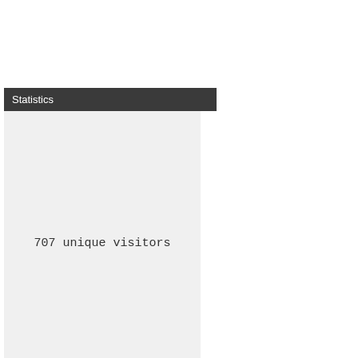Statistics
707 unique visitors
Latest software updates